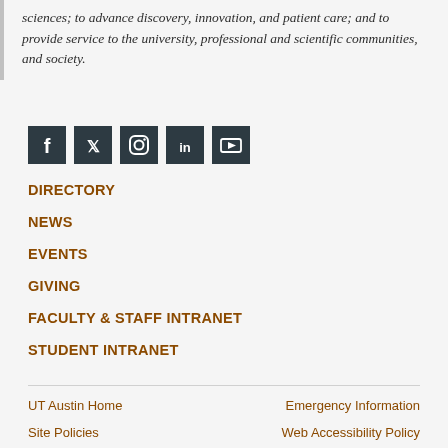sciences; to advance discovery, innovation, and patient care; and to provide service to the university, professional and scientific communities, and society.
[Figure (other): Social media icons: Facebook, Twitter, Instagram, LinkedIn, YouTube]
DIRECTORY
NEWS
EVENTS
GIVING
FACULTY & STAFF INTRANET
STUDENT INTRANET
UT Austin Home
Emergency Information
Site Policies
Web Accessibility Policy